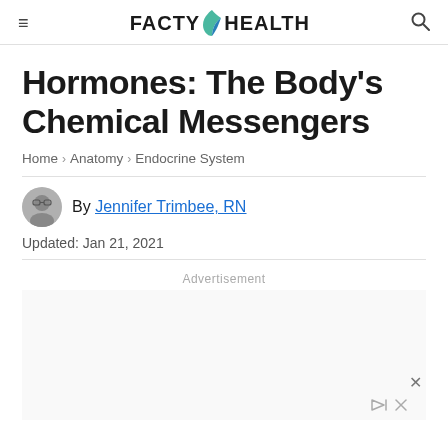FACTY HEALTH
Hormones: The Body's Chemical Messengers
Home > Anatomy > Endocrine System
By Jennifer Trimbee, RN
Updated: Jan 21, 2021
Advertisement